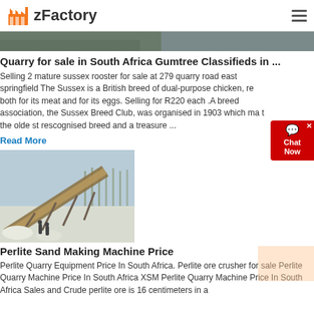zFactory
[Figure (photo): Top image strip showing a partial outdoor/quarry scene]
Quarry for sale in South Africa Gumtree Classifieds in ...
Selling 2 mature sussex rooster for sale at 279 quarry road east springfield The Sussex is a British breed of dual-purpose chicken, re both for its meat and for its eggs. Selling for R220 each .A breed association, the Sussex Breed Club, was organised in 1903 which ma t the olde st rescognised breed and a treasure ...
Read More
[Figure (photo): Outdoor industrial conveyor belt system in snowy/winter setting, perlite or aggregate processing plant]
Perlite Sand Making Machine Price
Perlite Quarry Equipment Price In South Africa. Perlite ore crusher for sale Perlite Quarry Machine Price In South Africa XSM Perlite Quarry Machine Price In South Africa Sales and Crude perlite ore is 16 centimeters in a